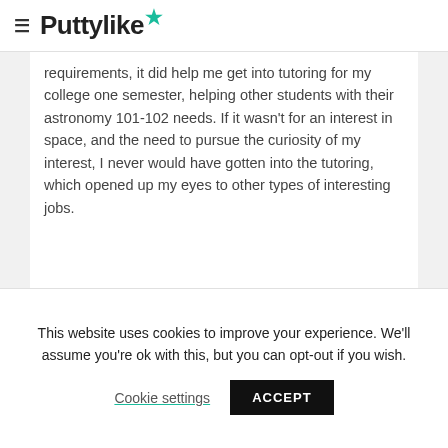Puttylike
requirements, it did help me get into tutoring for my college one semester, helping other students with their astronomy 101-102 needs. If it wasn't for an interest in space, and the need to pursue the curiosity of my interest, I never would have gotten into the tutoring, which opened up my eyes to other types of interesting jobs.
This website uses cookies to improve your experience. We'll assume you're ok with this, but you can opt-out if you wish.
Cookie settings  ACCEPT